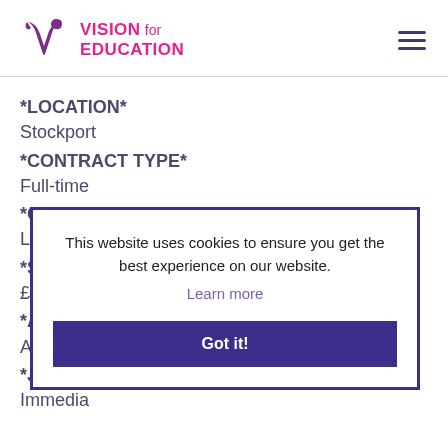[Figure (logo): Vision for Education logo with purple V icon and pink bold text]
*LOCATION*
Stockport
*CONTRACT TYPE*
Full-time
*CONTRACT TERMS*
Long-term/Permanent
*SALARY*
£600 - £...
*APPLY...
ASAP
*JOB ST...
Immedia...
This website uses cookies to ensure you get the best experience on our website. Learn more Got it!